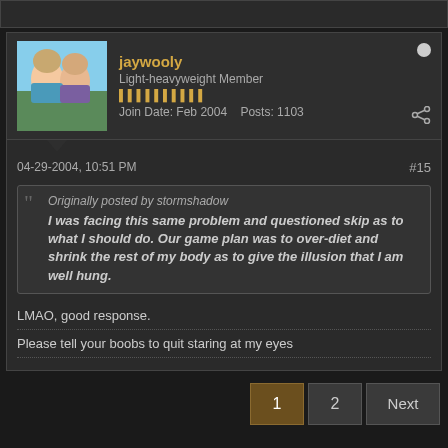jaywooly
Light-heavyweight Member
Join Date: Feb 2004   Posts: 1103
04-29-2004, 10:51 PM  #15
Originally posted by stormshadow
I was facing this same problem and questioned skip as to what I should do. Our game plan was to over-diet and shrink the rest of my body as to give the illusion that I am well hung.
LMAO, good response.
Please tell your boobs to quit staring at my eyes